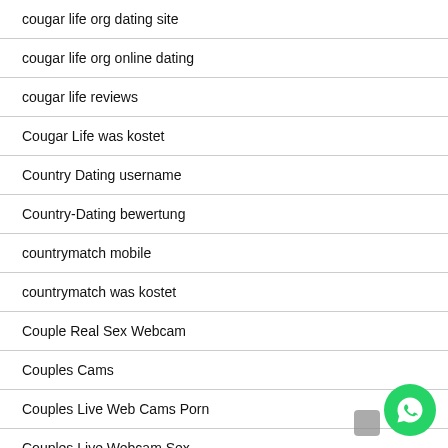cougar life org dating site
cougar life org online dating
cougar life reviews
Cougar Life was kostet
Country Dating username
Country-Dating bewertung
countrymatch mobile
countrymatch was kostet
Couple Real Sex Webcam
Couples Cams
Couples Live Web Cams Porn
Couples Live Webcam Sex
craigslist gov hookup